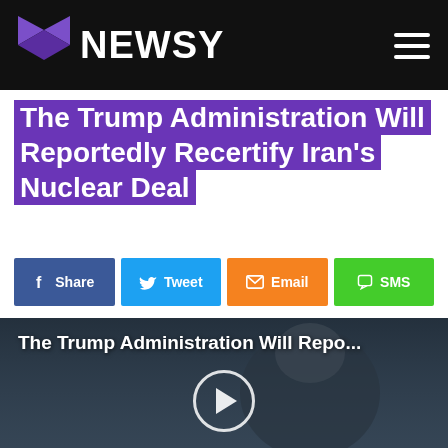NEWSY
The Trump Administration Will Reportedly Recertify Iran's Nuclear Deal
[Figure (screenshot): Social share buttons: Share (Facebook, blue), Tweet (Twitter, blue), Email (orange), SMS (green)]
[Figure (screenshot): Video thumbnail showing a person (presumably Trump) with text overlay 'The Trump Administration Will Repo...' and a play button circle in the center]